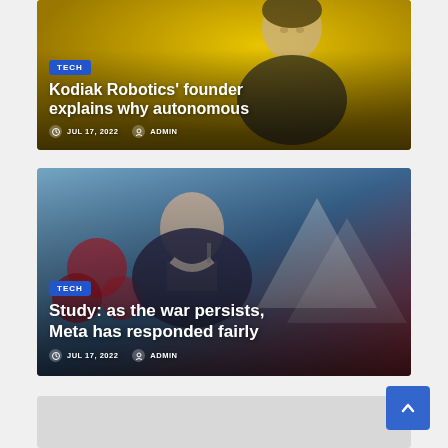[Figure (photo): Article card with golden/yellow background showing an illustrated portrait of a person (Kodiak Robotics founder) with TECH tag, headline, date and author metadata]
[Figure (photo): Article card with dark blue/red background showing a photo of a man speaking at a microphone, with TECH tag, headline about Meta and war study, date and author metadata]
[Figure (photo): Partial article card visible at the bottom of the page with a light gray background]